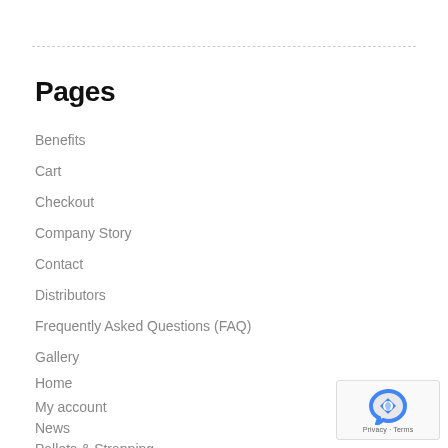Pages
Benefits
Cart
Checkout
Company Story
Contact
Distributors
Frequently Asked Questions (FAQ)
Gallery
Home
My account
News
Pallets & Strapping